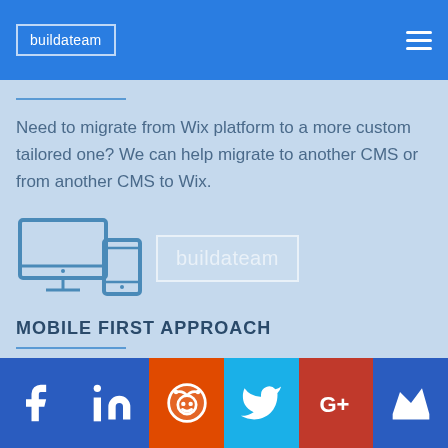buildateam
Need to migrate from Wix platform to a more custom tailored one? We can help migrate to another CMS or from another CMS to Wix.
[Figure (illustration): Icon of a desktop monitor and a mobile device side by side, representing responsive/multi-device design. Also includes a watermark logo 'buildateam' in a box outline.]
MOBILE FIRST APPROACH
Mobile traffic is growing fast! We will make sure designs look perfect on any screen.
Social media icons: Facebook, LinkedIn, Reddit, Twitter, Google+, Crown